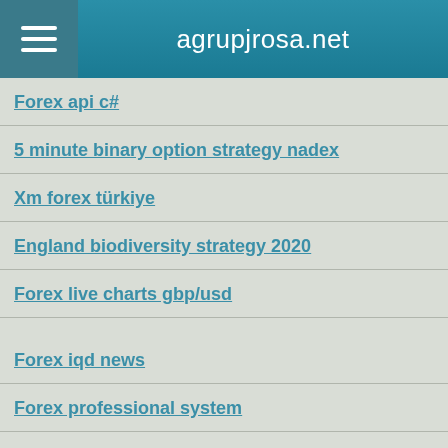agrupjrosa.net
Forex api c#
5 minute binary option strategy nadex
Xm forex türkiye
England biodiversity strategy 2020
Forex live charts gbp/usd
Forex iqd news
Forex professional system
Forex market open
Octa forex no deposit bonus